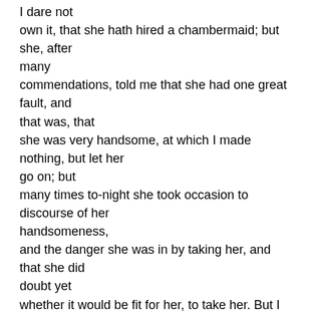I dare not own it, that she hath hired a chambermaid; but she, after many commendations, told me that she had one great fault, and that was, that she was very handsome, at which I made nothing, but let her go on; but many times to-night she took occasion to discourse of her handsomeness, and the danger she was in by taking her, and that she did doubt yet whether it would be fit for her, to take her. But I did assure her of my resolutions to have nothing to do with her maids, but in myself I was glad to have the content to have a handsome one to look on.
12th. Up, and abroad, with my own coach, to Auditor Beales house, and thence with W. Hewer to his Office, and there with great content spent all